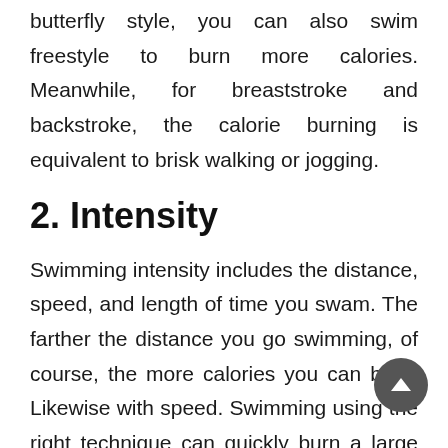butterfly style, you can also swim freestyle to burn more calories. Meanwhile, for breaststroke and backstroke, the calorie burning is equivalent to brisk walking or jogging.
2. Intensity
Swimming intensity includes the distance, speed, and length of time you swam. The farther the distance you go swimming, of course, the more calories you can burn. Likewise with speed. Swimming using the right technique can quickly burn a large number of calories. When done casually, swimming using a butterfly style only burns 150-200 calories per 30 minutes. However, if you swim intensely